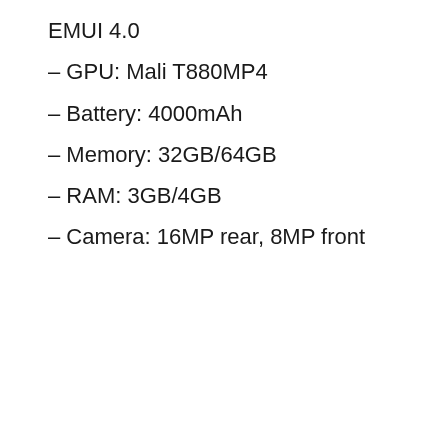EMUI 4.0
– GPU: Mali T880MP4
– Battery: 4000mAh
– Memory: 32GB/64GB
– RAM: 3GB/4GB
– Camera: 16MP rear, 8MP front